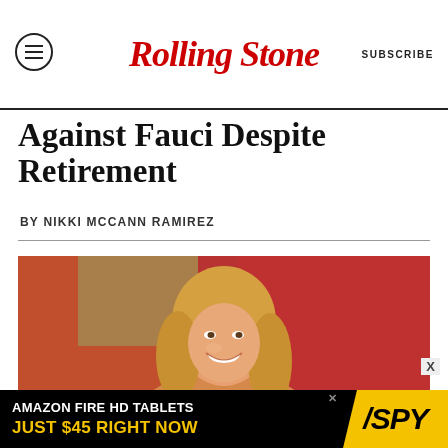RollingStone | SUBSCRIBE
Against Fauci Despite Retirement
BY NIKKI MCCANN RAMIREZ
[Figure (photo): Blonde woman smiling against a blurred red/orange background]
AMAZON FIRE HD TABLETS JUST $45 RIGHT NOW | SPY